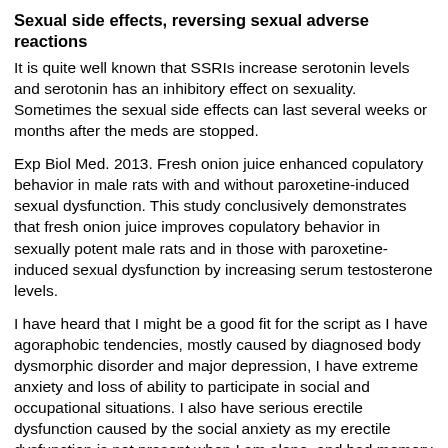Sexual side effects, reversing sexual adverse reactions
It is quite well known that SSRIs increase serotonin levels and serotonin has an inhibitory effect on sexuality. Sometimes the sexual side effects can last several weeks or months after the meds are stopped.
Exp Biol Med. 2013. Fresh onion juice enhanced copulatory behavior in male rats with and without paroxetine-induced sexual dysfunction. This study conclusively demonstrates that fresh onion juice improves copulatory behavior in sexually potent male rats and in those with paroxetine-induced sexual dysfunction by increasing serum testosterone levels.
I have heard that I might be a good fit for the script as I have agoraphobic tendencies, mostly caused by diagnosed body dysmorphic disorder and major depression, I have extreme anxiety and loss of ability to participate in social and occupational situations. I also have serious erectile dysfunction caused by the social anxiety as my erectile dysfunction is not present when I am alone, and bad memory loss. I am on 80 mg Paxil and 30 mg Buspar. While they have helped, it seems not to be enough and my doctor, though he has helped me tremendously with CBT, is a minimalist when it comes to scripting.